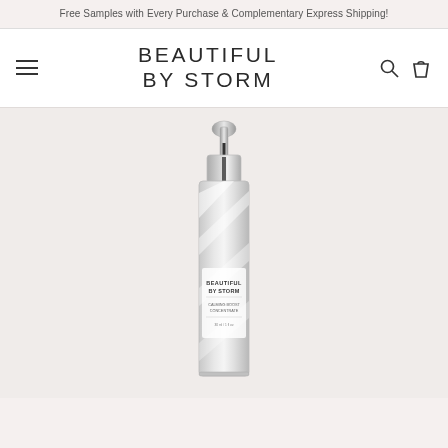Free Samples with Every Purchase & Complementary Express Shipping!
BEAUTIFUL BY STORM
[Figure (photo): A skincare serum bottle with a dropper top, clear/glass appearance with diagonal white stripe reflections, labeled 'Beautiful by Storm'. Product shown against a light warm-toned background.]